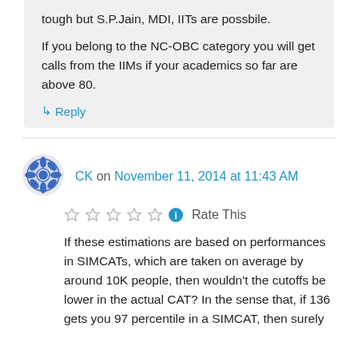tough but S.P.Jain, MDI, IITs are possbile.
If you belong to the NC-OBC category you will get calls from the IIMs if your academics so far are above 80.
↳ Reply
CK on November 11, 2014 at 11:43 AM
Rate This
If these estimations are based on performances in SIMCATs, which are taken on average by around 10K people, then wouldn't the cutoffs be lower in the actual CAT? In the sense that, if 136 gets you 97 percentile in a SIMCAT, then surely